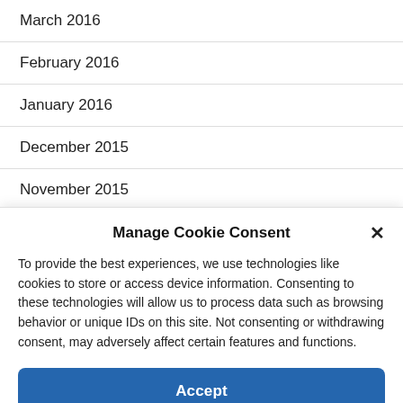March 2016
February 2016
January 2016
December 2015
November 2015
October 2015
Manage Cookie Consent
To provide the best experiences, we use technologies like cookies to store or access device information. Consenting to these technologies will allow us to process data such as browsing behavior or unique IDs on this site. Not consenting or withdrawing consent, may adversely affect certain features and functions.
Accept